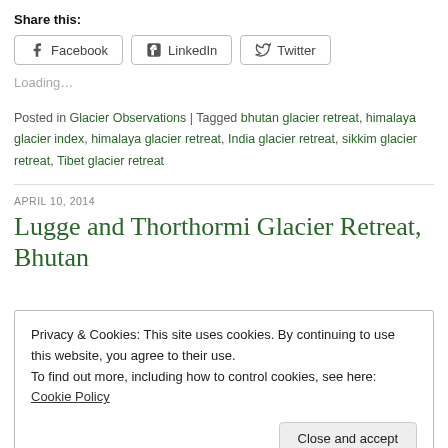Share this:
Facebook  LinkedIn  Twitter
Loading...
Posted in Glacier Observations | Tagged bhutan glacier retreat, himalaya glacier index, himalaya glacier retreat, India glacier retreat, sikkim glacier retreat, Tibet glacier retreat
APRIL 10, 2014
Lugge and Thorthormi Glacier Retreat, Bhutan
Privacy & Cookies: This site uses cookies. By continuing to use this website, you agree to their use.
To find out more, including how to control cookies, see here: Cookie Policy
Close and accept
the nature of these floods, noting there are eight dangerous